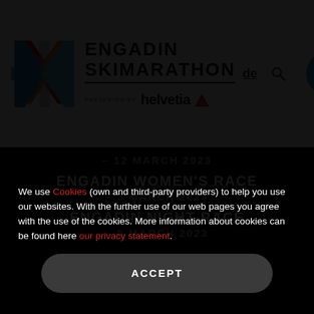[Figure (logo): Engadin Skimarathon logo with colorful woven cross pattern in red, orange, blue, and gray]
ENGADIN SKIMARATHON
PRESENTED BY helvetia
– 12 MARCH 2023
ENGADIN WOMEN'S RACE
– 5 MARCH 2023
ENGADIN NIGHT RACE
– 9 MARCH 2023
We use Cookies (own and third-party providers) to help you use our websites. With the further use of our web pages you agree with the use of the cookies. More information about cookies can be found here our privacy statement.
ACCEPT